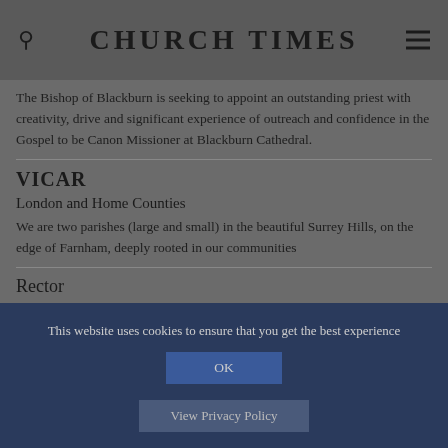CHURCH TIMES
The Bishop of Blackburn is seeking to appoint an outstanding priest with creativity, drive and significant experience of outreach and confidence in the Gospel to be Canon Missioner at Blackburn Cathedral.
VICAR
London and Home Counties
We are two parishes (large and small) in the beautiful Surrey Hills, on the edge of Farnham, deeply rooted in our communities
Rector
North-West
This website uses cookies to ensure that you get the best experience
OK
View Privacy Policy